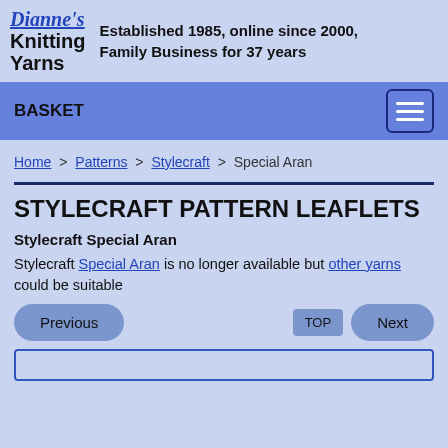Dianne's Knitting Yarns — Established 1985, online since 2000, Family Business for 37 years
BASKET
Home > Patterns > Stylecraft > Special Aran
STYLECRAFT PATTERN LEAFLETS
Stylecraft Special Aran
Stylecraft Special Aran is no longer available but other yarns could be suitable
Previous  TOP  Next